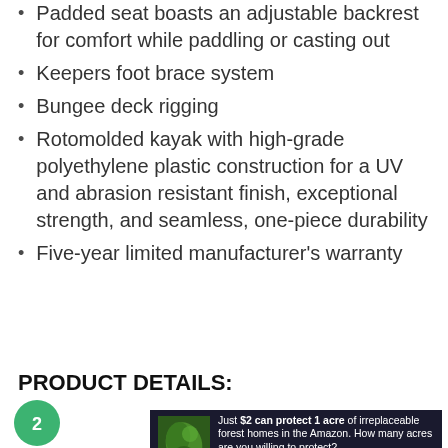Padded seat boasts an adjustable backrest for comfort while paddling or casting out
Keepers foot brace system
Bungee deck rigging
Rotomolded kayak with high-grade polyethylene plastic construction for a UV and abrasion resistant finish, exceptional strength, and seamless, one-piece durability
Five-year limited manufacturer's warranty
PRODUCT DETAILS:
[Figure (infographic): Green circular badge with number 2 subscript overlaid on the section header area, and an advertisement banner showing a leaf/forest image with text: 'Just $2 can protect 1 acre of irreplaceable forest homes in the Amazon. How many acres are you willing to protect?' with a green PROTECT FORESTS NOW button.]